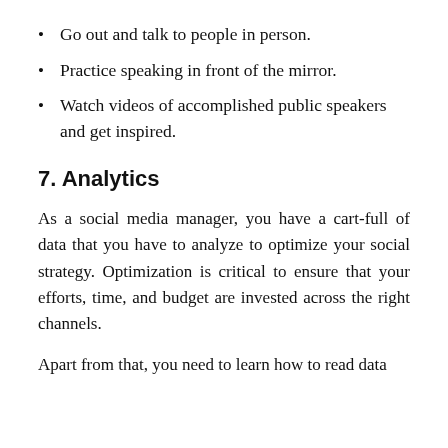Go out and talk to people in person.
Practice speaking in front of the mirror.
Watch videos of accomplished public speakers and get inspired.
7. Analytics
As a social media manager, you have a cart-full of data that you have to analyze to optimize your social strategy. Optimization is critical to ensure that your efforts, time, and budget are invested across the right channels.
Apart from that, you need to learn how to read data